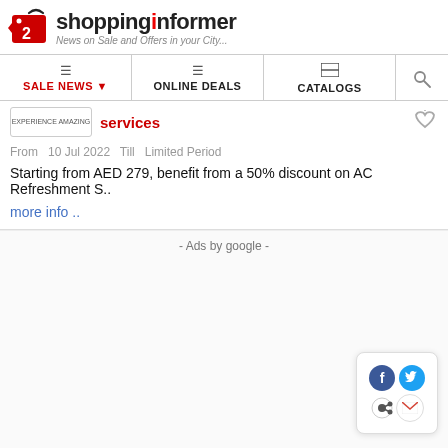shoppinginformer - News on Sale and Offers in your City...
SALE NEWS ▼ | ONLINE DEALS | CATALOGS
services
From  10 Jul 2022  Till   Limited Period
Starting from AED 279, benefit from a 50% discount on AC Refreshment S..
more info ..
- Ads by google -